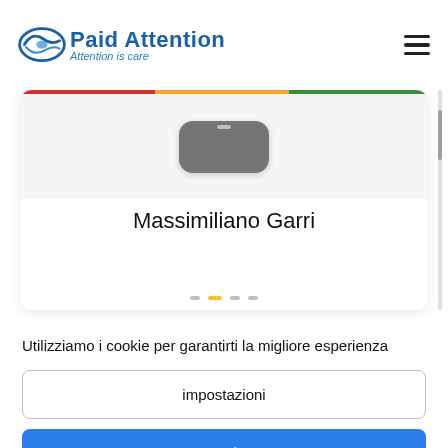[Figure (logo): Paid Attention logo with blue swoosh/leaf icon and text 'Paid Attention' with tagline 'Attention is care']
[Figure (screenshot): Profile card showing a phone widget graphic at top and the name 'Massimiliano Garri' centered below]
Utilizziamo i cookie per garantirti la migliore esperienza
impostazioni
Consenti tutto
Disabilita tutto